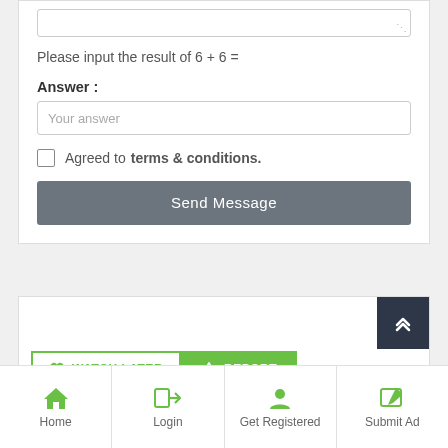Please input the result of 6 + 6 =
Answer :
Your answer
Agreed to terms & conditions.
Send Message
[Figure (screenshot): Watch Later and Report buttons, with a scroll-to-top dark button]
Home | Login | Get Registered | Submit Ad